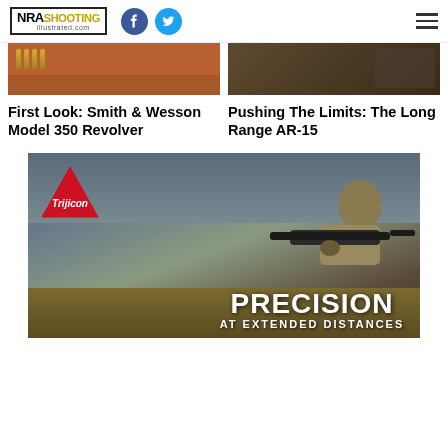NRA Shooting Illustrated .com
First Look: Smith & Wesson Model 350 Revolver
Pushing The Limits: The Long Range AR-15
[Figure (photo): Trijicon advertisement showing a man aiming a scoped rifle, with text PRECISION AT EXTENDED DISTANCES]